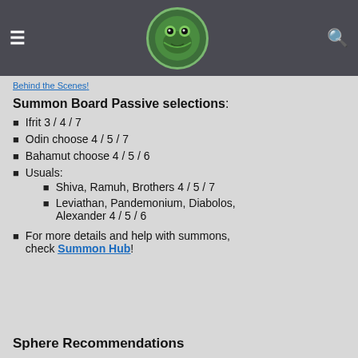≡  [logo]  🔍
Behind the Scenes!
Summon Board Passive selections:
Ifrit 3 / 4 / 7
Odin choose 4 / 5 / 7
Bahamut choose 4 / 5 / 6
Usuals:
Shiva, Ramuh, Brothers 4 / 5 / 7
Leviathan, Pandemonium, Diabolos, Alexander 4 / 5 / 6
For more details and help with summons, check Summon Hub!
Sphere Recommendations